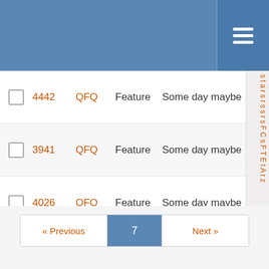|  | # | Project | Type | Milestone | Priority |
| --- | --- | --- | --- | --- | --- |
|  | 4442 | QFQ | Feature | Some day maybe | Normal |
|  | 3941 | QFQ | Feature | Some day maybe | Normal |
|  | 4026 | QFQ | Feature | Some day maybe | Normal |
|  | 3402 | QFQ | Feature | Some day maybe | Normal |
|  | 4258 | QFQ | Feature | Some day maybe | High |
|  | 10745 | QFQ | Feature | Some day maybe | Normal |
|  | 9130 | QFQ | Feature | Some day maybe | Normal |
« Previous  7  Next »